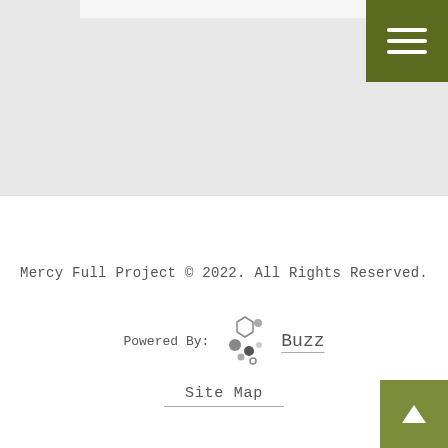[Figure (screenshot): Gray top section with a white navigation bar area and a dark olive/green hamburger menu button in the upper right corner with three white horizontal lines]
Mercy Full Project © 2022. All Rights Reserved.
Powered By: Buzz
Site Map